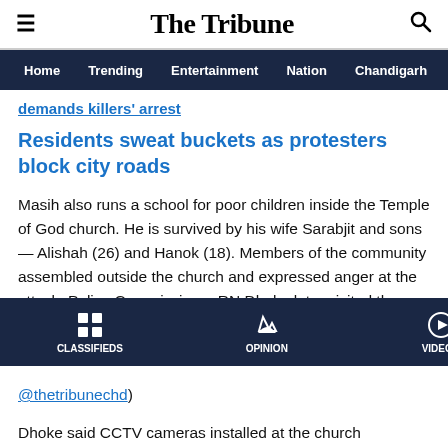The Tribune
Home  Trending  Entertainment  Nation  Chandigarh  Punjab
demands killers' arrest
Residents sweat buckets as protesters block city roads
Masih also runs a school for poor children inside the Temple of God church. He is survived by his wife Sarabjit and sons — Alishah (26) and Hanok (18). Members of the community assembled outside the church and expressed anger at the attack. Police Commissioner RN Dhoke later visited the scene and urged them to maintain peace.
CLASSIFIEDS  OPINION  VIDEOS  SPORTS  EPAPER
@thetribunechd)
Dhoke said CCTV cameras installed at the church